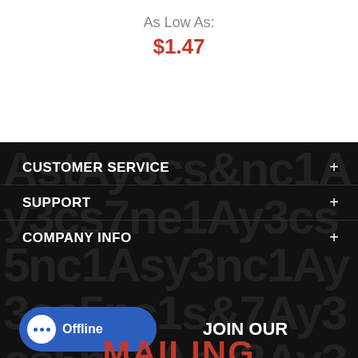As Low As:
$1.47
CUSTOMER SERVICE
SUPPORT
COMPANY INFO
Offline
JOIN OUR
MAILING